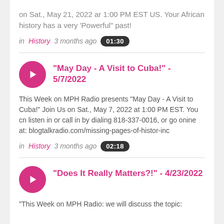on Sat., May 21, 2022 ar 1:00 PM EST US. Your African history has a very 'Powerful" past!
in History  3 months ago  01:30
"May Day - A Visit to Cuba!" - 5/7/2022
This Week on MPH Radio presents "May Day - A Visit to Cuba!" Join Us on Sat., May 7, 2022 at 1:00 PM EST. You cn listen in or call in by dialing 818-337-0016, or go onine at: blogtalkradio.com/missing-pages-of-histor-inc
in History  3 months ago  02:18
"Does It Really Matters?!" - 4/23/2022
"This Week on MPH Radio: we will discuss the topic: